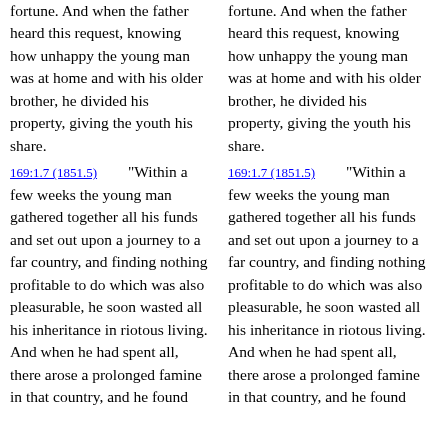fortune. And when the father heard this request, knowing how unhappy the young man was at home and with his older brother, he divided his property, giving the youth his share.
169:1.7 (1851.5)  “Within a few weeks the young man gathered together all his funds and set out upon a journey to a far country, and finding nothing profitable to do which was also pleasurable, he soon wasted all his inheritance in riotous living. And when he had spent all, there arose a prolonged famine in that country, and he found
fortune. And when the father heard this request, knowing how unhappy the young man was at home and with his older brother, he divided his property, giving the youth his share.
169:1.7 (1851.5)  “Within a few weeks the young man gathered together all his funds and set out upon a journey to a far country, and finding nothing profitable to do which was also pleasurable, he soon wasted all his inheritance in riotous living. And when he had spent all, there arose a prolonged famine in that country, and he found